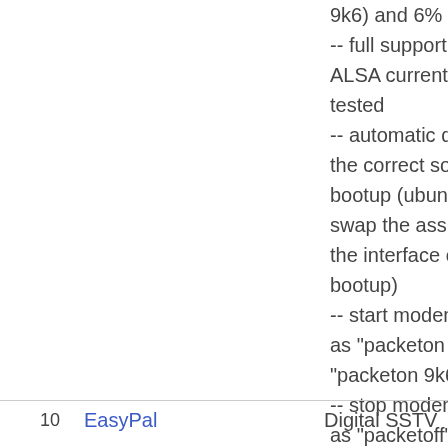9k6) and 6% in 1k2 -- full support of ALSA currently being tested -- automatic detection of the correct sound card at bootup (ubuntu/debian - swap the assignation of the interface on each bootup) -- start modems and aliases as "packeton 1k2" "packeton 9k6"# -- stop modems and aliases as "packetoff" -- deb packaged with dependences included
10   EasyPal   Digital SSTV